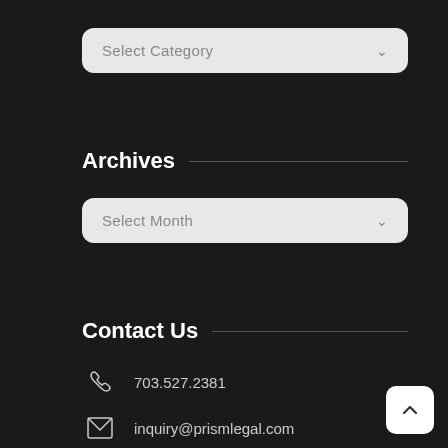[Figure (screenshot): Select Category dropdown widget with light gray background and chevron arrow]
Archives
[Figure (screenshot): Select Month dropdown widget with light gray background and chevron arrow]
Contact Us
703.527.2381
inquiry@prismlegal.com